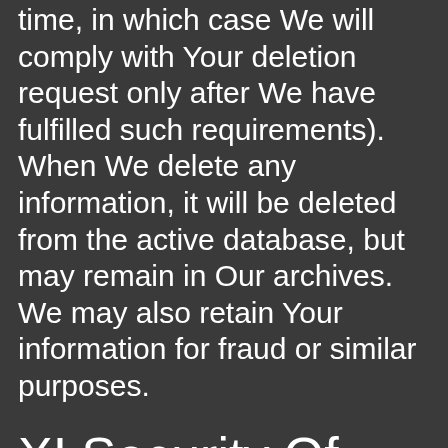time, in which case We will comply with Your deletion request only after We have fulfilled such requirements). When We delete any information, it will be deleted from the active database, but may remain in Our archives. We may also retain Your information for fraud or similar purposes.
XI Security Of Your Personal Data
BOOTABLE-PENDRIVE-ONLINE.BLOGSPOT.COM is committed to protecting the security